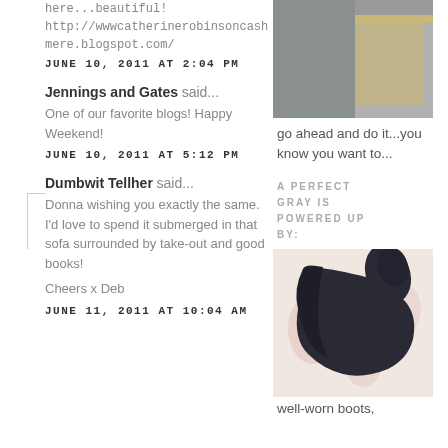here...beautiful! http://wwwcatherinerobinsoncashmere.blogspot.com/
JUNE 10, 2011 AT 2:04 PM
Jennings and Gates said...
One of our favorite blogs! Happy Weekend!
JUNE 10, 2011 AT 5:12 PM
Dumbwit Tellher said...
Donna wishing you exactly the same. I'd love to spend it submerged in that sofa surrounded by take-out and good books!
Cheers x Deb
JUNE 11, 2011 AT 10:04 AM
[Figure (photo): Gray fabric/material with tape]
go ahead and do it...you know you want to...
A PERFECT GRAY IS POWERED UP BY:
[Figure (photo): Well-worn dark leather boots lying on a floral rug]
well-worn boots,